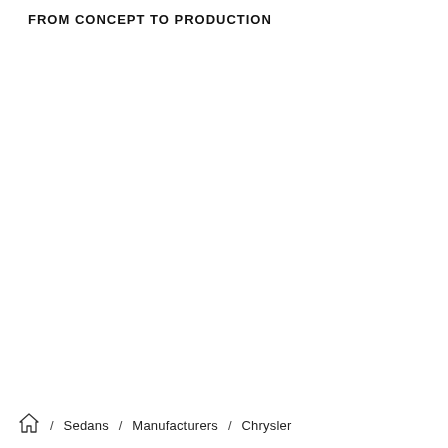FROM CONCEPT TO PRODUCTION
/ Sedans / Manufacturers / Chrysler